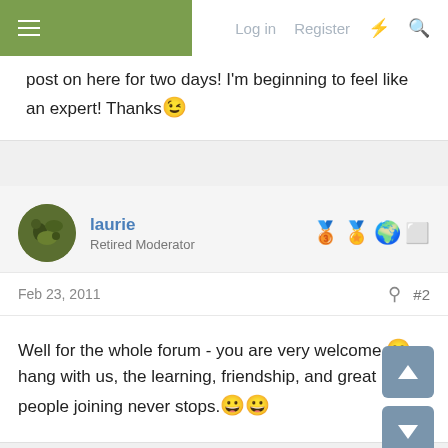Log in  Register
post on here for two days! I'm beginning to feel like an expert! Thanks 😉
laurie
Retired Moderator
Feb 23, 2011  #2
Well for the whole forum - you are very welcome. 🙂 hang with us, the learning, friendship, and great new people joining never stops. 😀😀